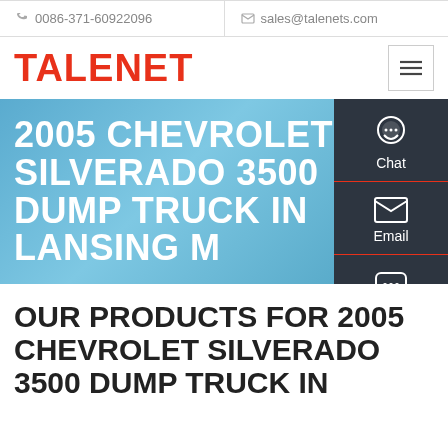0086-371-60922096   sales@talenets.com
TALENET
[Figure (screenshot): Hero banner with blue gradient background showing text: 2005 CHEVROLET SILVERADO 3500 DUMP TRUCK IN LANSING MI, with side panel showing Chat, Email, Contact icons]
OUR PRODUCTS FOR 2005 CHEVROLET SILVERADO 3500 DUMP TRUCK IN